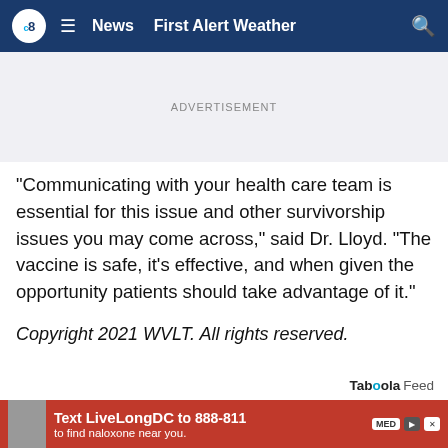CBS8 | News  First Alert Weather
ADVERTISEMENT
"Communicating with your health care team is essential for this issue and other survivorship issues you may come across," said Dr. Lloyd. "The vaccine is safe, it's effective, and when given the opportunity patients should take advantage of it."
Copyright 2021 WVLT. All rights reserved.
Taboola Feed
[Figure (screenshot): Red advertisement banner at bottom: Text LiveLongDC to 888-811 to find naloxone near you.]